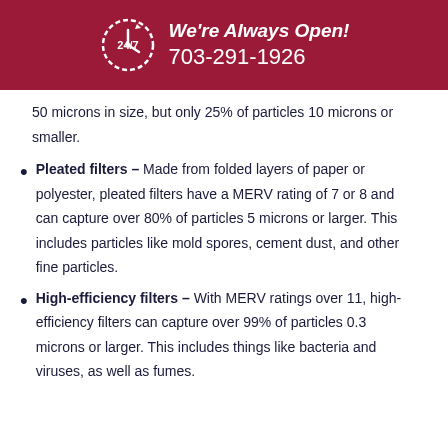We're Always Open! 703-291-1926
50 microns in size, but only 25% of particles 10 microns or smaller.
Pleated filters – Made from folded layers of paper or polyester, pleated filters have a MERV rating of 7 or 8 and can capture over 80% of particles 5 microns or larger. This includes particles like mold spores, cement dust, and other fine particles.
High-efficiency filters – With MERV ratings over 11, high-efficiency filters can capture over 99% of particles 0.3 microns or larger. This includes things like bacteria and viruses, as well as fumes.